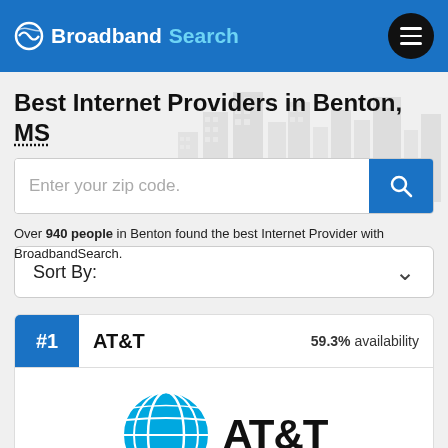BroadbandSearch
Best Internet Providers in Benton, MS
Over 940 people in Benton found the best Internet Provider with BroadbandSearch.
Sort By:
#1  AT&T   59.3% availability
[Figure (logo): AT&T globe logo with the text AT&T in bold black letters]